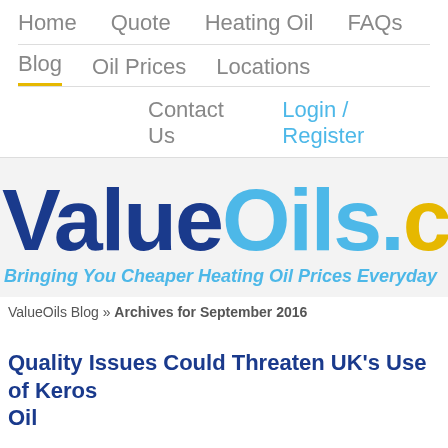Home   Quote   Heating Oil   FAQs
Blog   Oil Prices   Locations
Contact Us   Login / Register
[Figure (logo): ValueOils.co logo with blue 'Value', light blue 'Oils', and yellow '.co' text on grey background, with tagline 'Bringing You Cheaper Heating Oil Prices Everyday']
ValueOils Blog » Archives for September 2016
Quality Issues Could Threaten UK's Use of Keros Oil